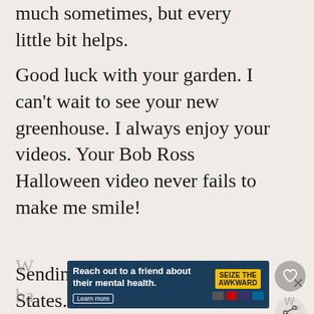much sometimes, but every little bit helps.
Good luck with your garden. I can't wait to see your new greenhouse. I always enjoy your videos. Your Bob Ross Halloween video never fails to make me smile!
Sending you love from the States. <3
LYNN
July 25, 2021 / 3:45 am
WHAT'S NEXT → My favourite Summer bags
Reach out to a friend about their mental health. Learn more | SEIZE THE AWKWARD